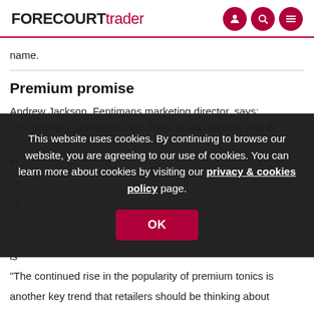FORECOURT trader
name.
Premium promise
Andrew Jackson, Fentimans marketing director, says: "Increasingly, consumers are drinking less alcohol with Br... [text obscured by cookie overlay]
This website uses cookies. By continuing to browse our website, you are agreeing to our use of cookies. You can learn more about cookies by visiting our privacy & cookies policy page.
"The continued rise in the popularity of premium tonics is another key trend that retailers should be thinking about